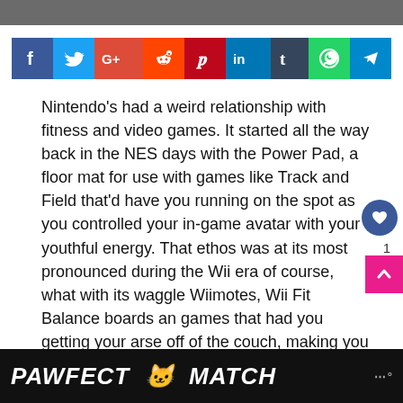[Figure (infographic): Social media share buttons: Facebook, Twitter, Google+, Reddit, Pinterest, LinkedIn, Tumblr, WhatsApp, Telegram]
Nintendo's had a weird relationship with fitness and video games. It started all the way back in the NES days with the Power Pad, a floor mat for use with games like Track and Field that'd have you running on the spot as you controlled your in-game avatar with your youthful energy. That ethos was at its most pronounced during the Wii era of course, what with its waggle Wiimotes, Wii Fit Balance boards and games that had you getting your arse off of the couch, making you move to control a video game.
[Figure (infographic): Bottom advertisement banner: PAWFECT MATCH with cat image]